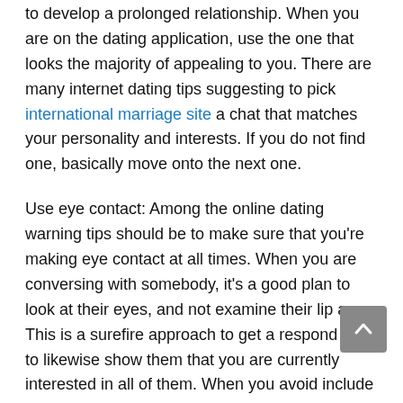to develop a prolonged relationship. When you are on the dating application, use the one that looks the majority of appealing to you. There are many internet dating tips suggesting to pick international marriage site a chat that matches your personality and interests. If you do not find one, basically move onto the next one.
Use eye contact: Among the online dating warning tips should be to make sure that you're making eye contact at all times. When you are conversing with somebody, it's a good plan to look at their eyes, and not examine their lip area. This is a surefire approach to get a respond and to likewise show them that you are currently interested in all of them. When you avoid include anyone else approach, this basic gesture will have you getting answers in no time. It's also a terrific way to break the ice and set a good rate for the conversation in the years ahead.
Work on the voice: One of the better online dating principles tips